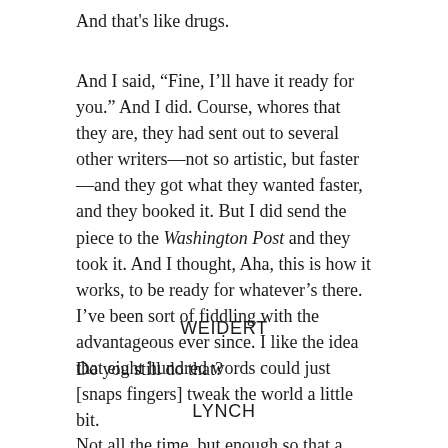And that’s like drugs.
And I said, “Fine, I’ll have it ready for you.” And I did. Course, whores that they are, they had sent out to several other writers—not so artistic, but faster—and they got what they wanted faster, and they booked it. But I did send the piece to the Washington Post and they took it. And I thought, Aha, this is how it works, to be ready for whatever’s there. I’ve been sort of fiddling with the advantageous ever since. I like the idea that eight hundred words could just [snaps fingers] tweak the world a little bit.
WEIDERT
Do you still do that?
LYNCH
Not all the time, but enough so that a year doesn’t often go by that I don’t have one, and …